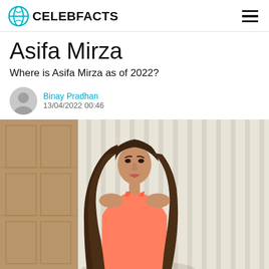CELEBFACTS
Asifa Mirza
Where is Asifa Mirza as of 2022?
Binay Pradhan
13/04/2022 00:46
[Figure (photo): Portrait photo of Asifa Mirza, a young woman with long wavy dark brown hair wearing a coral/salmon colored sleeveless top, posed against a curtained background with wood paneling.]